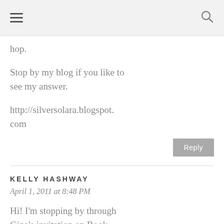≡  🔍
hop.
Stop by my blog if you like to see my answer.
http://silversolara.blogspot.com
Reply
KELLY HASHWAY
April 1, 2011 at 8:48 PM
Hi! I'm stopping by through Gina's invitation on Book Blogs. I really like your blog.